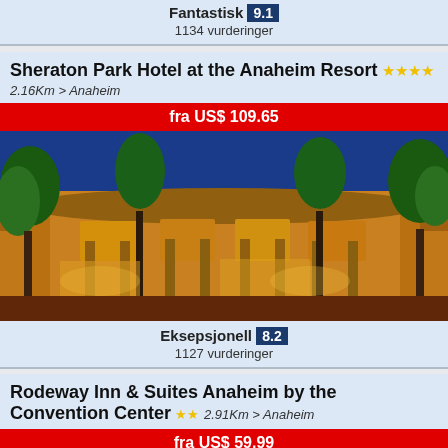Fantastisk 9.1 / 1134 vurderinger
Sheraton Park Hotel at the Anaheim Resort ★★★★
2.16Km > Anaheim
fra US$ 109.65
[Figure (photo): Sheraton Park Hotel at the Anaheim Resort exterior photo showing illuminated building facade with trees at night]
Eksepsjonell 8.2 / 1127 vurderinger
Rodeway Inn & Suites Anaheim by the Convention Center ★★
2.91Km > Anaheim
fra US$ 59.99
[Figure (photo): Partial view of Rodeway Inn exterior at top]